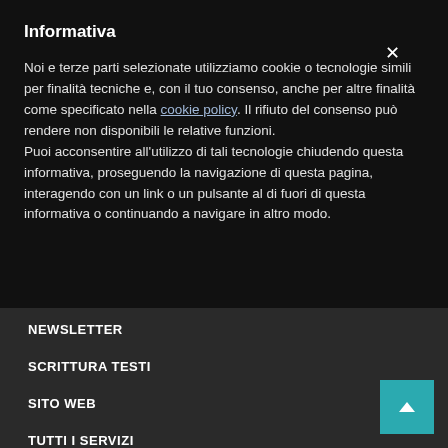Informativa
Noi e terze parti selezionate utilizziamo cookie o tecnologie simili per finalità tecniche e, con il tuo consenso, anche per altre finalità come specificato nella cookie policy. Il rifiuto del consenso può rendere non disponibili le relative funzioni.
Puoi acconsentire all'utilizzo di tali tecnologie chiudendo questa informativa, proseguendo la navigazione di questa pagina, interagendo con un link o un pulsante al di fuori di questa informativa o continuando a navigare in altro modo.
NEWSLETTER
SCRITTURA TESTI
SITO WEB
TUTTI I SERVIZI